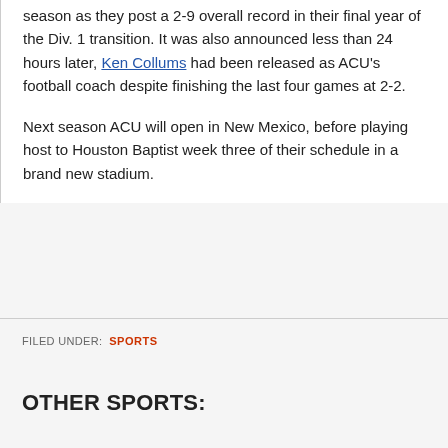season as they post a 2-9 overall record in their final year of the Div. 1 transition. It was also announced less than 24 hours later, Ken Collums had been released as ACU's football coach despite finishing the last four games at 2-2.
Next season ACU will open in New Mexico, before playing host to Houston Baptist week three of their schedule in a brand new stadium.
FILED UNDER: SPORTS
OTHER SPORTS: